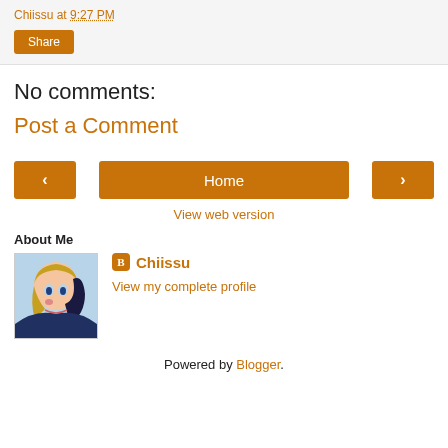Chiissu at 9:27 PM
Share
No comments:
Post a Comment
< Home >
View web version
About Me
[Figure (photo): Profile photo of Chiissu - anime style illustration of a character with blonde and dark hair]
Chiissu
View my complete profile
Powered by Blogger.